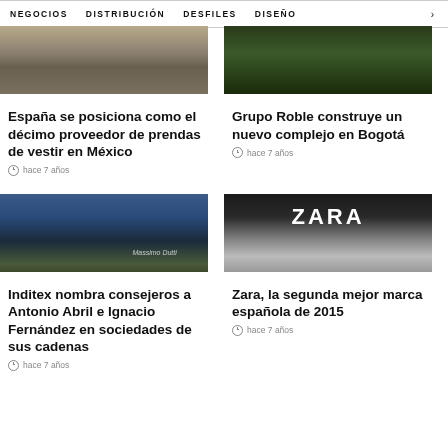NEGOCIOS  DISTRIBUCIÓN  DESFILES  DISEÑO  >
[Figure (photo): Interior architectural photo, warm tones]
[Figure (photo): Green foliage/plant photo, dark tones]
España se posiciona como el décimo proveedor de prendas de vestir en México
hace 7 años
Grupo Roble construye un nuevo complejo en Bogotá
hace 7 años
[Figure (photo): Massimo Dutti store exterior at dusk, blue tones]
[Figure (photo): Zara store sign illuminated, dark background]
Inditex nombra consejeros a Antonio Abril e Ignacio Fernández en sociedades de sus cadenas
hace 7 años
Zara, la segunda mejor marca española de 2015
hace 7 años